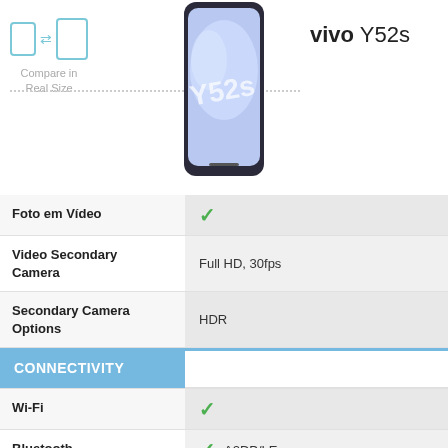[Figure (photo): vivo Y52s smartphone product image]
vivo Y52s
[Figure (infographic): Compare in Real Size icon with two phone outlines and arrow]
| Feature | Value |
| --- | --- |
| Foto em Vídeo | ✓ |
| Video Secondary Camera | Full HD, 30fps |
| Secondary Camera Options | HDR |
| CONNECTIVITY |  |
| Wi-Fi | ✓ |
| Bluetooth | ✓ A2DP/LE |